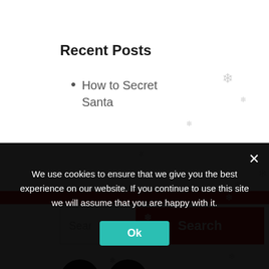Recent Posts
How to Secret Santa
[Figure (screenshot): Search input field with red Search button]
[Figure (screenshot): Social media icons: Facebook and Instagram (black circles)]
We use cookies to ensure that we give you the best experience on our website. If you continue to use this site we will assume that you are happy with it.